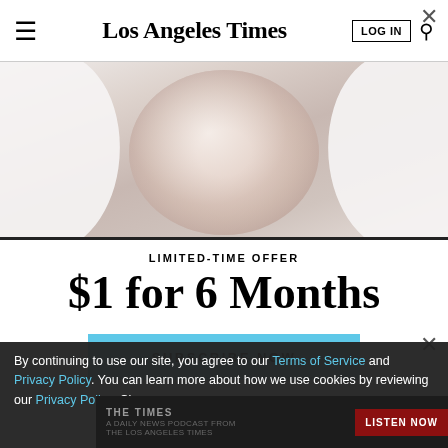Los Angeles Times
[Figure (photo): Close-up photo of a person's face receiving a skin treatment, covered in a clear gel or mask, wearing a white towel wrap around their head, eyes closed, slight smile]
LIMITED-TIME OFFER
$1 for 6 Months
SUBSCRIBE NOW
By continuing to use our site, you agree to our Terms of Service and Privacy Policy. You can learn more about how we use cookies by reviewing our Privacy Policy. Close